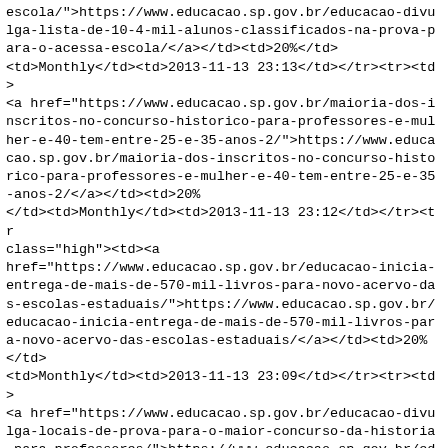escola/">https://www.educacao.sp.gov.br/educacao-divulga-lista-de-10-4-mil-alunos-classificados-na-prova-para-o-acessa-escola/</a></td><td>20%</td><td>Monthly</td><td>2013-11-13 23:13</td></tr><tr><td><a href="https://www.educacao.sp.gov.br/maioria-dos-inscritos-no-concurso-historico-para-professores-e-mulher-e-40-tem-entre-25-e-35-anos-2/">https://www.educacao.sp.gov.br/maioria-dos-inscritos-no-concurso-historico-para-professores-e-mulher-e-40-tem-entre-25-e-35-anos-2/</a></td><td>20%</td><td>Monthly</td><td>2013-11-13 23:12</td></tr><tr class="high"><td><a href="https://www.educacao.sp.gov.br/educacao-inicia-entrega-de-mais-de-570-mil-livros-para-novo-acervo-das-escolas-estaduais/">https://www.educacao.sp.gov.br/educacao-inicia-entrega-de-mais-de-570-mil-livros-para-novo-acervo-das-escolas-estaduais/</a></td><td>20%</td><td>Monthly</td><td>2013-11-13 23:09</td></tr><tr><td><a href="https://www.educacao.sp.gov.br/educacao-divulga-locais-de-prova-para-o-maior-concurso-da-historia-para-professores/">https://www.educacao.sp.gov.br/educacao-divulga-locais-de-prova-para-o-maior-concurso-da-historia-para-professores/</a></td><td>20%</td><td>Monthly</td><td>2013-11-13 23:07</td></tr><tr class="high"><td><a href="https://www.educacao.sp.gov.br/2500/">https://www.educacao.sp.gov.br/2500/</a></td><td>20%</td><td>Monthly</td><td>2013-11-13 21:55</td></tr><tr><td>